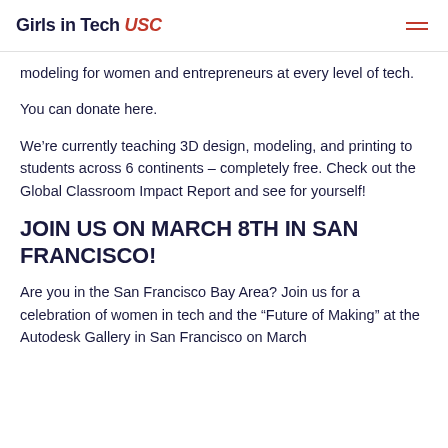Girls in Tech USC
modeling for women and entrepreneurs at every level of tech.
You can donate here.
We’re currently teaching 3D design, modeling, and printing to students across 6 continents – completely free. Check out the Global Classroom Impact Report and see for yourself!
JOIN US ON MARCH 8TH IN SAN FRANCISCO!
Are you in the San Francisco Bay Area? Join us for a celebration of women in tech and the “Future of Making” at the Autodesk Gallery in San Francisco on March